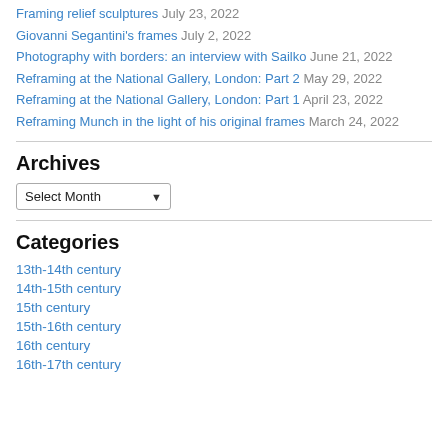Framing relief sculptures July 23, 2022
Giovanni Segantini's frames July 2, 2022
Photography with borders: an interview with Sailko June 21, 2022
Reframing at the National Gallery, London: Part 2 May 29, 2022
Reframing at the National Gallery, London: Part 1 April 23, 2022
Reframing Munch in the light of his original frames March 24, 2022
Archives
Select Month
Categories
13th-14th century
14th-15th century
15th century
15th-16th century
16th century
16th-17th century